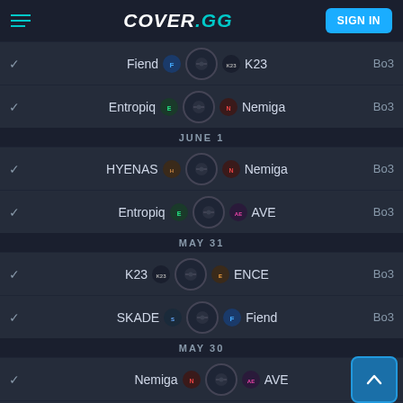COVER.GG — SIGN IN
Fiend vs K23 — Bo3
Entropiq vs Nemiga — Bo3
JUNE 1
HYENAS vs Nemiga — Bo3
Entropiq vs AVE — Bo3
MAY 31
K23 vs ENCE — Bo3
SKADE vs Fiend — Bo3
MAY 30
Nemiga vs AVE
Entropiq vs HYENAS